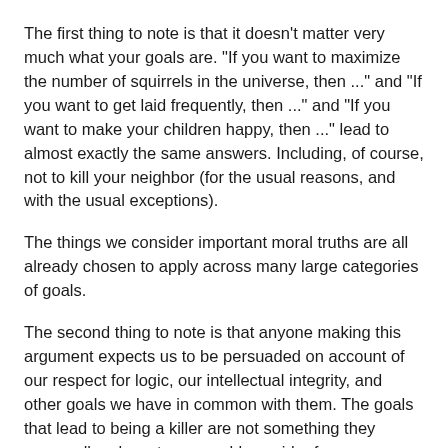The first thing to note is that it doesn't matter very much what your goals are. "If you want to maximize the number of squirrels in the universe, then ..." and "If you want to get laid frequently, then ..." and "If you want to make your children happy, then ..." lead to almost exactly the same answers. Including, of course, not to kill your neighbor (for the usual reasons, and with the usual exceptions).
The things we consider important moral truths are all already chosen to apply across many large categories of goals.
The second thing to note is that anyone making this argument expects us to be persuaded on account of our respect for logic, our intellectual integrity, and other goals we have in common with them. The goals that lead to being a killer are not something they personally advocate, or would consider for themselves. When they say they don't see anything better about our goals than a killer's, they are being disingenuous. If they really thought those goal systems were equally good, they wouldn't hate the idea of being a killer personally.
Third, their entire position rests on ignoring thousands of well known arguments and pretending they don't count. For example, it's better to be a librarian who wants to feed his family, than a killer who likes the thrill of the hunt, because it's more honorable. That is a reason...